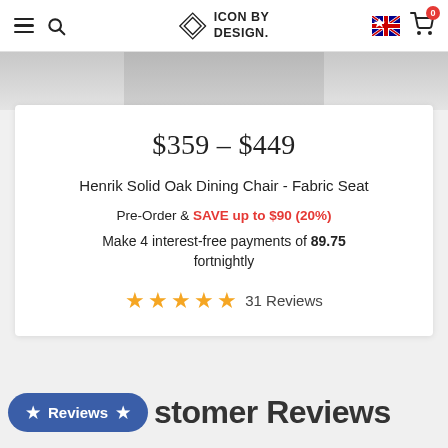Icon By Design
[Figure (photo): Partial product image strip at top of page, light gray background]
$359 – $449
Henrik Solid Oak Dining Chair - Fabric Seat
Pre-Order & SAVE up to $90 (20%)
Make 4 interest-free payments of 89.75 fortnightly
★★★★★ 31 Reviews
★ Reviews ★ Customer Reviews